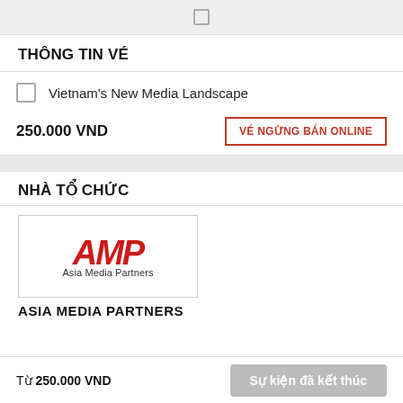THÔNG TIN VÉ
Vietnam's New Media Landscape
250.000 VND
VÉ NGỪNG BÁN ONLINE
NHÀ TỔ CHỨC
[Figure (logo): AMP Asia Media Partners logo — bold red italic AMP letters above 'Asia Media Partners' text, inside a bordered box]
ASIA MEDIA PARTNERS
Từ 250.000 VND
Sự kiện đã kết thúc